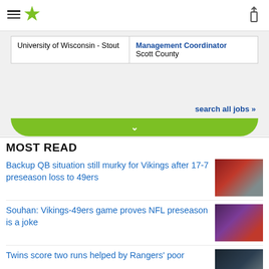StarTribune navigation header with hamburger menu, star logo, and share icon
| Position | Details |
| --- | --- |
| University of Wisconsin - Stout | Management Coordinator
Scott County |
search all jobs »
MOST READ
Backup QB situation still murky for Vikings after 17-7 preseason loss to 49ers
Souhan: Vikings-49ers game proves NFL preseason is a joke
Twins score two runs helped by Rangers' poor